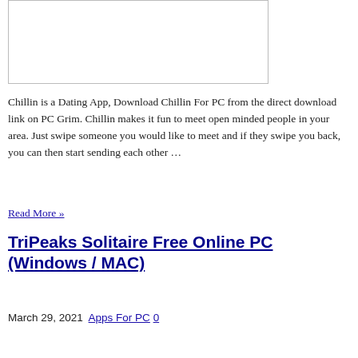[Figure (other): Placeholder image box with border]
Chillin is a Dating App, Download Chillin For PC from the direct download link on PC Grim. Chillin makes it fun to meet open minded people in your area. Just swipe someone you would like to meet and if they swipe you back, you can then start sending each other …
Read More »
TriPeaks Solitaire Free Online PC (Windows / MAC)
March 29, 2021 Apps For PC 0